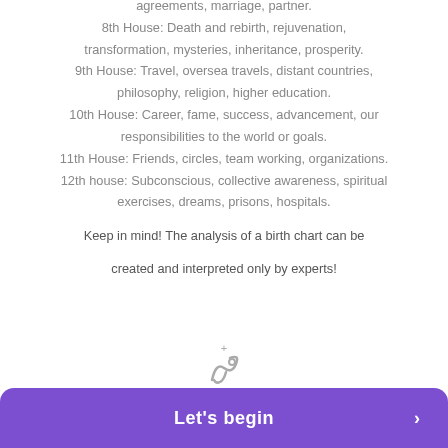agreements, marriage, partner. 8th House: Death and rebirth, rejuvenation, transformation, mysteries, inheritance, prosperity. 9th House: Travel, oversea travels, distant countries, philosophy, religion, higher education. 10th House: Career, fame, success, advancement, our responsibilities to the world or goals. 11th House: Friends, circles, team working, organizations. 12th house: Subconscious, collective awareness, spiritual exercises, dreams, prisons, hospitals.
Keep in mind! The analysis of a birth chart can be created and interpreted only by experts!
[Figure (illustration): Small decorative astrology icon with a plus sign above it]
Let's begin >